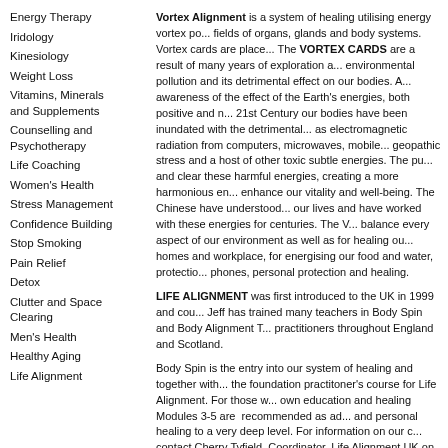Energy Therapy
Iridology
Kinesiology
Weight Loss
Vitamins, Minerals and Supplements
Counselling and Psychotherapy
Life Coaching
Women's Health
Stress Management
Confidence Building
Stop Smoking
Pain Relief
Detox
Clutter and Space Clearing
Men's Health
Healthy Aging
Life Alignment
Vortex Alignment is a system of healing utilising energy vortex po... fields of organs, glands and body systems. Vortex cards are place... The VORTEX CARDS are a result of many years of exploration a... environmental pollution and its detrimental effect on our bodies. A... awareness of the effect of the Earth's energies, both positive and... 21st Century our bodies have been inundated with the detrimenta... as electromagnetic radiation from computers, microwaves, mobile... geopathic stress and a host of other toxic subtle energies. The pu... and clear these harmful energies, creating a more harmonious en... enhance our vitality and well-being. The Chinese have understood... our lives and have worked with these energies for centuries. The V... balance every aspect of our environment as well as for healing ou... homes and workplace, for energising our food and water, protectio... phones, personal protection and healing.
LIFE ALIGNMENT was first introduced to the UK in 1999 and cou... Jeff has trained many teachers in Body Spin and Body Alignment T... practitioners throughout England and Scotland.
Body Spin is the entry into our system of healing and together with... the foundation practitoner's course for Life Alignment. For those w... own education and healing Modules 3-5 are recommended as ad... and personal healing to a very deep level. For information on our c... contact Cherry Tyfield, Coordinator, Life Alignment UK on 020 844... lifealignment@tyfield.com.
These details were last updated on: 22 January 2020
| Years in Business | 2012 |
| --- | --- |